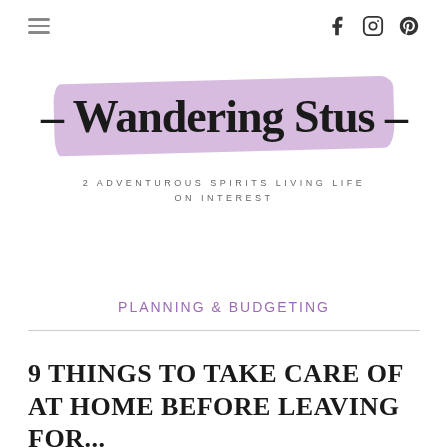≡  f  Instagram  Pinterest
[Figure (logo): Wandering Stus logo with purple brush stroke background and cursive script text reading '– Wandering Stus –' with tagline '2 ADVENTUROUS SPIRITS LIVING LIFE ON INTEREST']
PLANNING & BUDGETING
9 THINGS TO TAKE CARE OF AT HOME BEFORE LEAVING FOR...